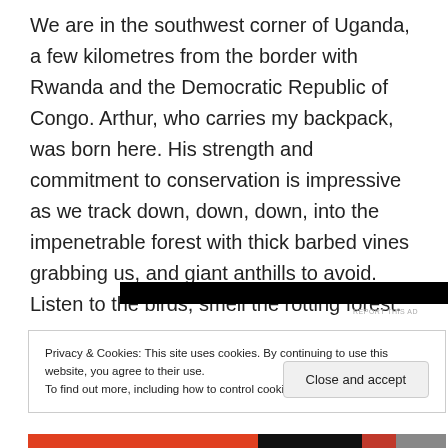We are in the southwest corner of Uganda, a few kilometres from the border with Rwanda and the Democratic Republic of Congo. Arthur, who carries my backpack, was born here. His strength and commitment to conservation is impressive as we track down, down, down, into the impenetrable forest with thick barbed vines grabbing us, and giant anthills to avoid. Listen to the birds, smell the rotting forest.
[Figure (other): Black advertisement banner bar]
REPORT THIS AD
Privacy & Cookies: This site uses cookies. By continuing to use this website, you agree to their use.
To find out more, including how to control cookies, see here: Cookie Policy